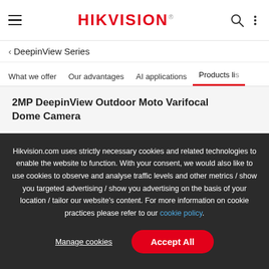HIKVISION
< DeepinView Series
What we offer   Our advantages   AI applications   Products list
2MP DeepinView Outdoor Moto Varifocal Dome Camera
Hikvision.com uses strictly necessary cookies and related technologies to enable the website to function. With your consent, we would also like to use cookies to observe and analyse traffic levels and other metrics / show you targeted advertising / show you advertising on the basis of your location / tailor our website's content. For more information on cookie practices please refer to our cookie policy.
Manage cookies
Accept All